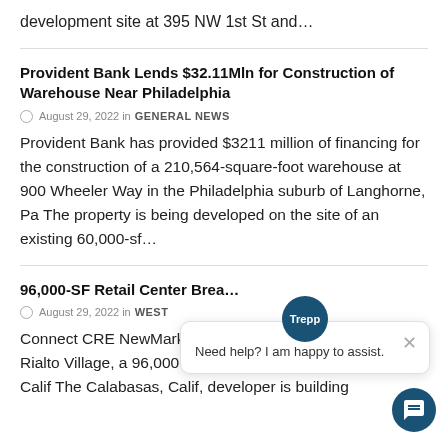development site at 395 NW 1st St and…
Provident Bank Lends $32.11Mln for Construction of Warehouse Near Philadelphia
August 29, 2022 in GENERAL NEWS
Provident Bank has provided $3211 million of financing for the construction of a 210,564-square-foot warehouse at 900 Wheeler Way in the Philadelphia suburb of Langhorne, Pa The property is being developed on the site of an existing 60,000-sf…
96,000-SF Retail Center Brea…
August 29, 2022 in WEST
Connect CRE NewMark Merrill Cos has broken ground Rialto Village, a 96,000-square-foot retail center Rialto, Calif The Calabasas, Calif, developer is building